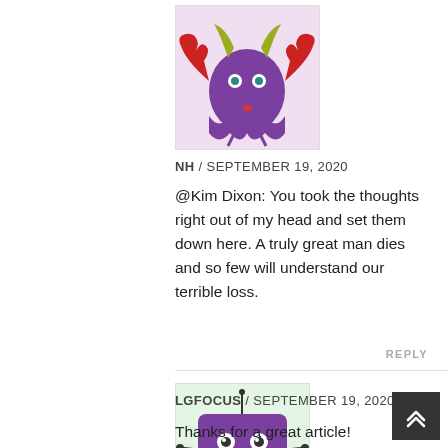[Figure (illustration): Purple monster avatar with red horns/claws, green horns, blue eyes, on light purple background]
NH / SEPTEMBER 19, 2020
@Kim Dixon: You took the thoughts right out of my head and set them down here. A truly great man dies and so few will understand our terrible loss.
REPLY
[Figure (illustration): Purple square-shaped creature avatar with big red lips, antenna, and stick legs on light green background]
LGFOCUS / SEPTEMBER 19, 2020
Thanks for a great article!